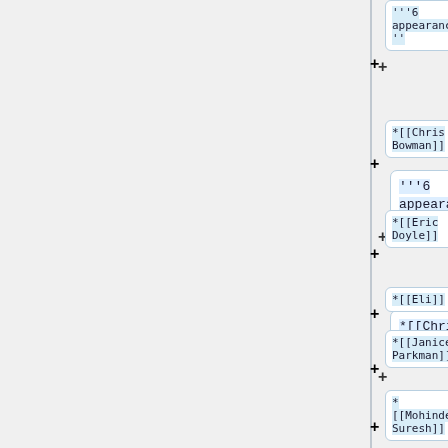'''6 appearances'''
*[[Chris Bowman]]
*[[Eric Doyle]]
*[[Eli]]
*[[Janice Parkman]]
*[[Mohinder Suresh]]
'''5 appearances'''
*[[Charlie Andrews]]